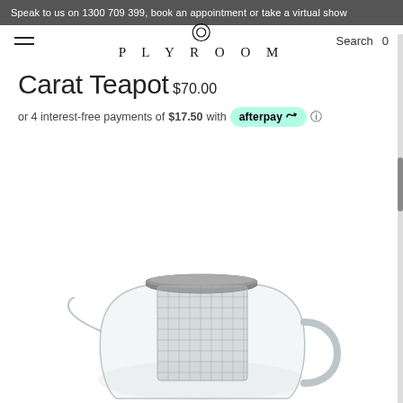Speak to us on 1300 709 399, book an appointment or take a virtual show
[Figure (logo): Plyroom logo with circular icon above text PLYROOM in spaced serif capitals]
Carat Teapot
$70.00
or 4 interest-free payments of $17.50 with afterpay
[Figure (photo): Glass Carat Teapot with stainless steel mesh infuser and grey lid, shown from side angle on white background]